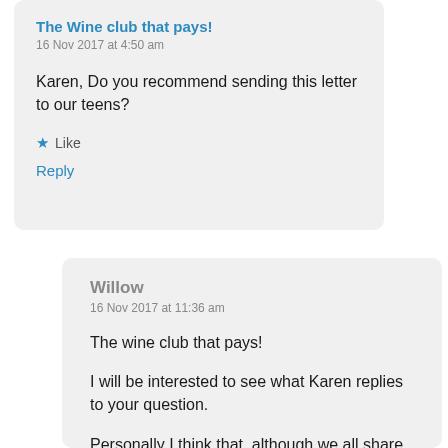The Wine club that pays!
16 Nov 2017 at 4:50 am
Karen, Do you recommend sending this letter to our teens?
★ Like
Reply
Willow
16 Nov 2017 at 11:36 am
The wine club that pays!
I will be interested to see what Karen replies to your question.
Personally I think that, although we all share the same heartache,